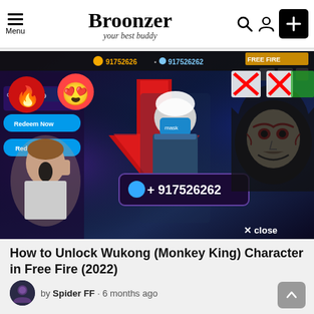Broonzer — your best buddy
[Figure (screenshot): Free Fire game thumbnail showing diamonds, characters with masks, emoji overlays (fire and heart-eyes), a number +917526262 displayed on screen, a surprised boy, and an anonymous mask character. 'X close' overlay in top right.]
How to Unlock Wukong (Monkey King) Character in Free Fire (2022)
by Spider FF · 6 months ago